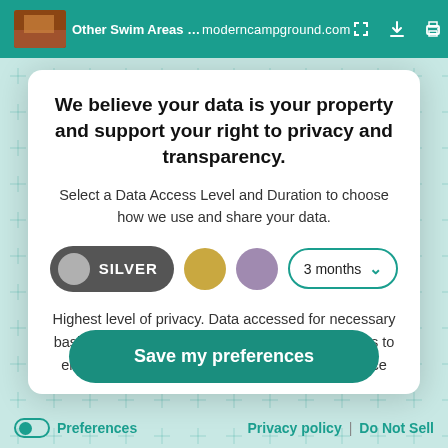[Figure (screenshot): Browser toolbar with moderncampground.com URL and icons (fullscreen, download, print, close) on teal background]
We believe your data is your property and support your right to privacy and transparency.
Select a Data Access Level and Duration to choose how we use and share your data.
[Figure (infographic): Privacy level selector showing Silver pill toggle, gold circle, purple circle, and 3 months dropdown]
Highest level of privacy. Data accessed for necessary basic operations only. Data shared with 3rd parties to ensure the site is secure and works on your device
Save my preferences
Preferences   Privacy policy | Do Not Sell